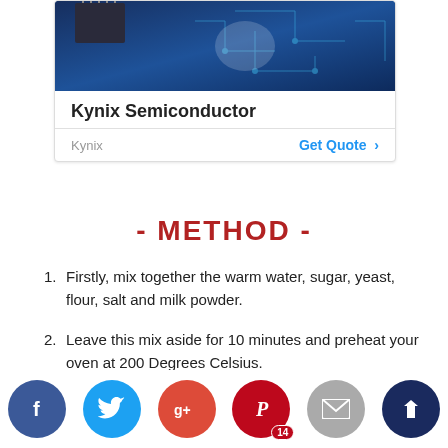[Figure (screenshot): Kynix Semiconductor advertisement banner with circuit board imagery, showing company name, Kynix label, and Get Quote link]
- METHOD -
Firstly, mix together the warm water, sugar, yeast, flour, salt and milk powder.
Leave this mix aside for 10 minutes and preheat your oven at 200 Degrees Celsius.
Next, combine in a bowl, flour, baking powder, and head int...
[Figure (screenshot): Social media sharing buttons row: Facebook, Twitter, Google+, Pinterest (with count 14), Email, and a dark blue icon]